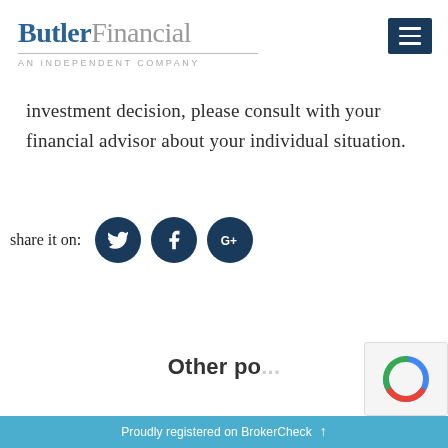ButlerFinancial — AN INDEPENDENT COMPANY
investment decision, please consult with your financial advisor about your individual situation.
share it on:
Other po...